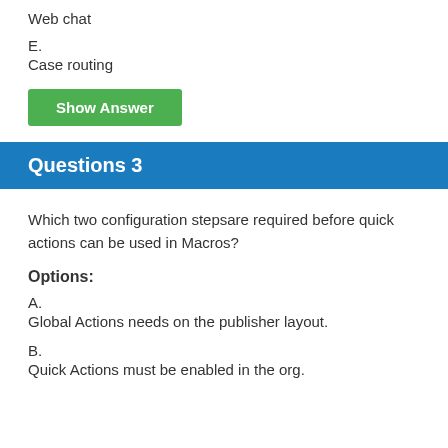Web chat
E.
Case routing
Show Answer
Questions 3
Which two configuration stepsare required before quick actions can be used in Macros?
Options:
A.
Global Actions needs on the publisher layout.
B.
Quick Actions must be enabled in the org.